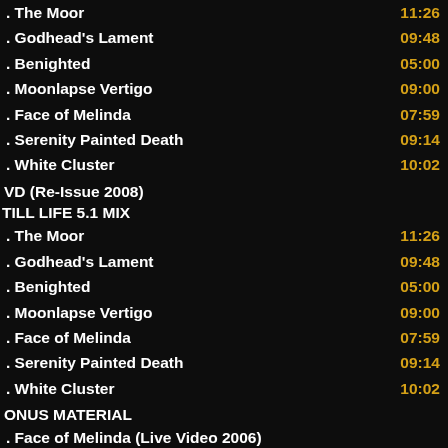The Moor
Godhead's Lament
Benighted
Moonlapse Vertigo
Face of Melinda
Serenity Painted Death
White Cluster
VD (Re-Issue 2008)
TILL LIFE 5.1 MIX
The Moor
Godhead's Lament
Benighted
Moonlapse Vertigo
Face of Melinda
Serenity Painted Death
White Cluster
ONUS MATERIAL
Face of Melinda (Live Video 2006)